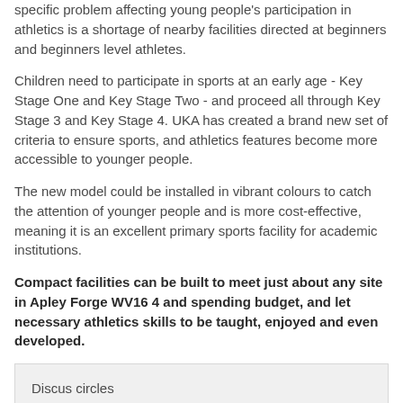specific problem affecting young people's participation in athletics is a shortage of nearby facilities directed at beginners and beginners level athletes.
Children need to participate in sports at an early age - Key Stage One and Key Stage Two - and proceed all through Key Stage 3 and Key Stage 4. UKA has created a brand new set of criteria to ensure sports, and athletics features become more accessible to younger people.
The new model could be installed in vibrant colours to catch the attention of younger people and is more cost-effective, meaning it is an excellent primary sports facility for academic institutions.
Compact facilities can be built to meet just about any site in Apley Forge WV16 4 and spending budget, and let necessary athletics skills to be taught, enjoyed and even developed.
Discus circles
Running straights